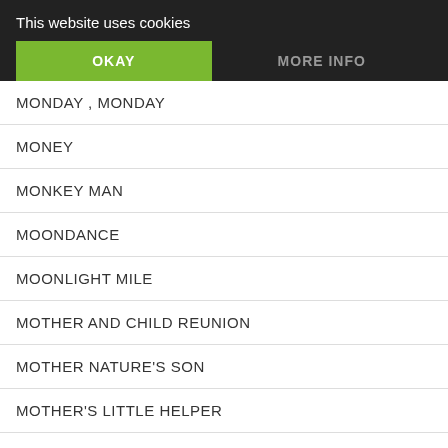This website uses cookies
OKAY
MORE INFO
MONDAY , MONDAY
MONEY
MONKEY MAN
MOONDANCE
MOONLIGHT MILE
MOTHER AND CHILD REUNION
MOTHER NATURE'S SON
MOTHER'S LITTLE HELPER
MOTHERLESS CHILD
MOVE IT ON OVER
MOZAMBIQUE